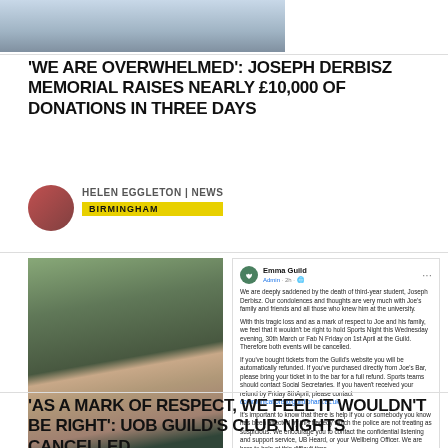[Figure (photo): Partial photo at top of page, showing part of a person's face/neck area]
'WE ARE OVERWHELMED': JOSEPH DERBISZ MEMORIAL RAISES NEARLY £10,000 OF DONATIONS IN THREE DAYS
HELEN EGGLETON | NEWS
BIRMINGHAM
[Figure (photo): Photo of young man (Joseph Derbisz) smiling, wearing a dark polo shirt, outdoors]
[Figure (screenshot): Facebook post by Emma Guild Admin, expressing condolences for the death of third-year student Joseph Derbisz, announcing cancellation of Sports Night and Fab N Friday events, refund information, and support services. 1K reactions, 4 Shares.]
'AS A MARK OF RESPECT, WE FEEL IT WOULDN'T BE RIGHT': UOB GUILD'S CLUB NIGHTS CANCELLED